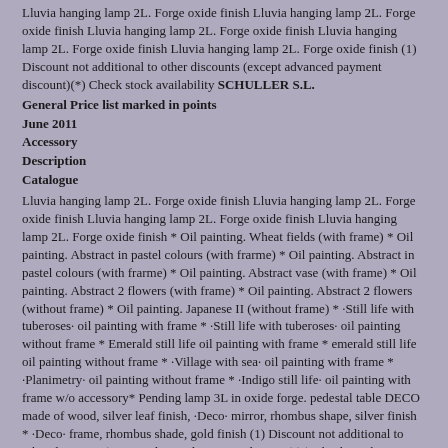Lluvia hanging lamp 2L. Forge oxide finish Lluvia hanging lamp 2L. Forge oxide finish Lluvia hanging lamp 2L. Forge oxide finish Lluvia hanging lamp 2L. Forge oxide finish Lluvia hanging lamp 2L. Forge oxide finish (1) Discount not additional to other discounts (except advanced payment discount)(*) Check stock availability SCHULLER S.L.
General Price list marked in points
June 2011
Accessory
Description
Catalogue
Lluvia hanging lamp 2L. Forge oxide finish Lluvia hanging lamp 2L. Forge oxide finish Lluvia hanging lamp 2L. Forge oxide finish Lluvia hanging lamp 2L. Forge oxide finish * Oil painting. Wheat fields (with frame) * Oil painting. Abstract in pastel colours (with frarme) * Oil painting. Abstract in pastel colours (with frarme) * Oil painting. Abstract vase (with frame) * Oil painting. Abstract 2 flowers (with frame) * Oil painting. Abstract 2 flowers (without frame) * Oil painting. Japanese II (without frame) * ·Still life with tuberoses· oil painting with frame * ·Still life with tuberoses· oil painting without frame * Emerald still life oil painting with frame * emerald still life oil painting without frame * ·Village with sea· oil painting with frame * ·Planimetry· oil painting without frame * ·Indigo still life· oil painting with frame w/o accessory* Pending lamp 3L in oxide forge. pedestal table DECO made of wood, silver leaf finish, ·Deco· mirror, rhombus shape, silver finish * ·Deco· frame, rhombus shade, gold finish (1) Discount not additional to other discounts (except advanced payment discount)(*) Check stock availability SCHULLER S.L.